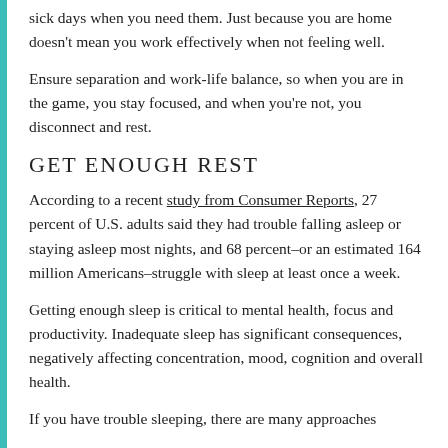sick days when you need them. Just because you are home doesn't mean you work effectively when not feeling well.
Ensure separation and work-life balance, so when you are in the game, you stay focused, and when you're not, you disconnect and rest.
GET ENOUGH REST
According to a recent study from Consumer Reports, 27 percent of U.S. adults said they had trouble falling asleep or staying asleep most nights, and 68 percent–or an estimated 164 million Americans–struggle with sleep at least once a week.
Getting enough sleep is critical to mental health, focus and productivity. Inadequate sleep has significant consequences, negatively affecting concentration, mood, cognition and overall health.
If you have trouble sleeping, there are many approaches